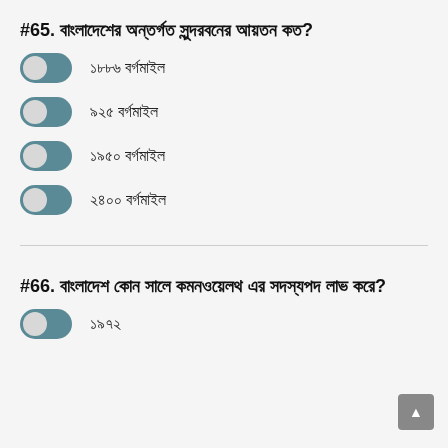#65. বাংলাদেশের অন্তর্গত সুন্দরবনের আয়তন কত?
১৮৮৬ বর্গমাইল
৯২৫ বর্গমাইল
১৯৫০ বর্গমাইল
২৪০০ বর্গমাইল
#66. বাংলাদেশ কোন সালে কমনওয়েলথ এর সদস্যপদ লাভ করে?
১৯৭২